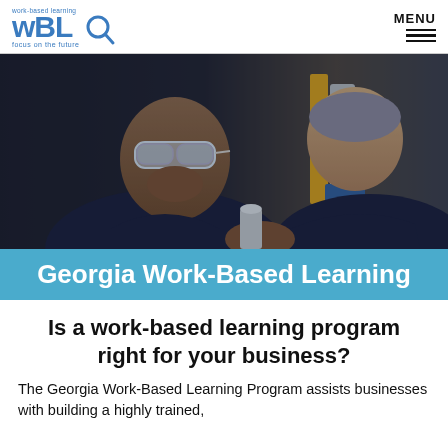WBL work-based learning focus on the future | MENU
[Figure (photo): Two workers in a manufacturing or industrial setting examining machinery. A young man wearing safety goggles and a dark shirt is in the foreground; an older man is beside him. Industrial equipment is visible in the background.]
Georgia Work-Based Learning
Is a work-based based learning program right for your business?
The Georgia Work-Based Learning Program assists businesses with building a highly trained,